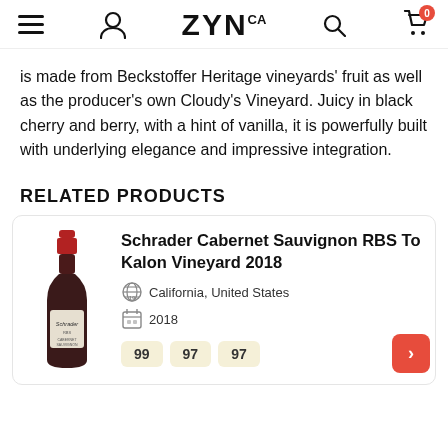ZYNCA navigation header with menu, user, logo, search, and cart icons
is made from Beckstoffer Heritage vineyards' fruit as well as the producer's own Cloudy's Vineyard. Juicy in black cherry and berry, with a hint of vanilla, it is powerfully built with underlying elegance and impressive integration.
RELATED PRODUCTS
[Figure (photo): Wine bottle of Schrader Cabernet Sauvignon RBS To Kalon Vineyard 2018 with red cap and label]
Schrader Cabernet Sauvignon RBS To Kalon Vineyard 2018
California, United States
2018
Ratings: 99, 97, 97